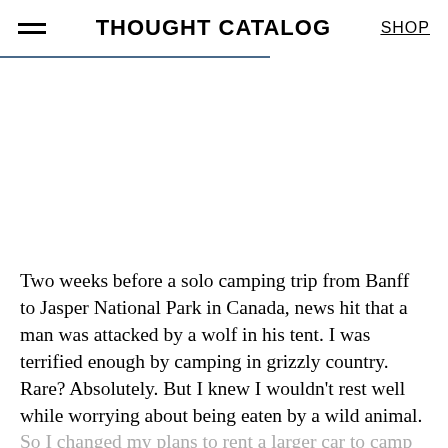THOUGHT CATALOG | SHOP
Two weeks before a solo camping trip from Banff to Jasper National Park in Canada, news hit that a man was attacked by a wolf in his tent. I was terrified enough by camping in grizzly country. Rare? Absolutely. But I knew I wouldn't rest well while worrying about being eaten by a wild animal. So I changed my plans to rent a larger car to camp in. While it may sound silly to some, it was an easy safety measure to plan for me.